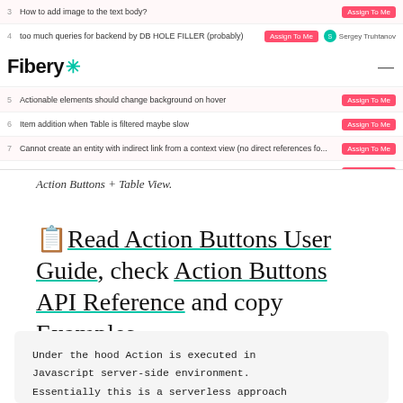[Figure (screenshot): Fibery app screenshot showing a table view with bug/task rows numbered 3-9, each with an 'Assign To Me' button in pink/red. Some rows have user avatars (Sergey Truhtanov, Anton Ickev). Header shows Fibery logo with teal asterisk icon and hamburger menu.]
Action Buttons + Table View.
📋Read Action Buttons User Guide, check Action Buttons API Reference and copy Examples.
Under the hood Action is executed in Javascript server-side environment. Essentially this is a serverless approach where you just write actions (functions)